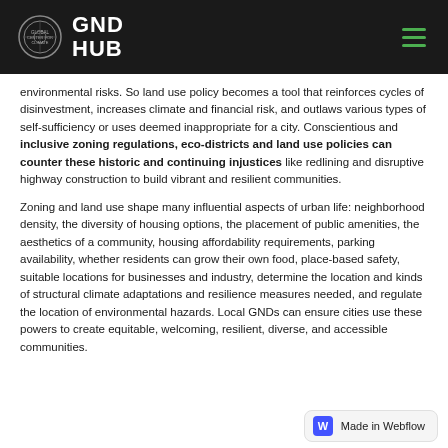GND HUB
environmental risks. So land use policy becomes a tool that reinforces cycles of disinvestment, increases climate and financial risk, and outlaws various types of self-sufficiency or uses deemed inappropriate for a city. Conscientious and inclusive zoning regulations, eco-districts and land use policies can counter these historic and continuing injustices like redlining and disruptive highway construction to build vibrant and resilient communities.
Zoning and land use shape many influential aspects of urban life: neighborhood density, the diversity of housing options, the placement of public amenities, the aesthetics of a community, housing affordability requirements, parking availability, whether residents can grow their own food, place-based safety, suitable locations for businesses and industry, determine the location and kinds of structural climate adaptations and resilience measures needed, and regulate the location of environmental hazards. Local GNDs can ensure cities use these powers to create equitable, welcoming, resilient, diverse, and accessible communities.
Made in Webflow